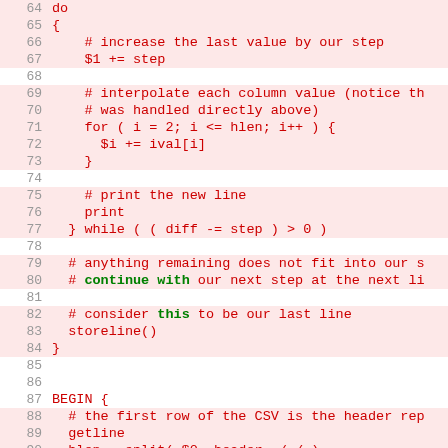[Figure (screenshot): Source code listing in a monospace font showing AWK code, lines 63-93, with light red highlighting on code lines and green keywords for 'continue', 'with', and 'this'.]